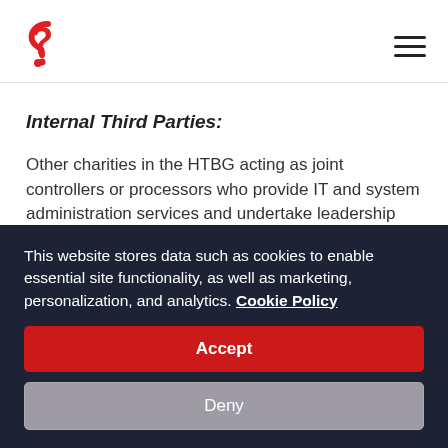[Figure (logo): Red question mark logo with dot underneath]
Internal Third Parties:
Other charities in the HTBG acting as joint controllers or processors who provide IT and system administration services and undertake leadership reporting.
Fundraising Partners:
This website stores data such as cookies to enable essential site functionality, as well as marketing, personalization, and analytics. Cookie Policy
Accept
Deny